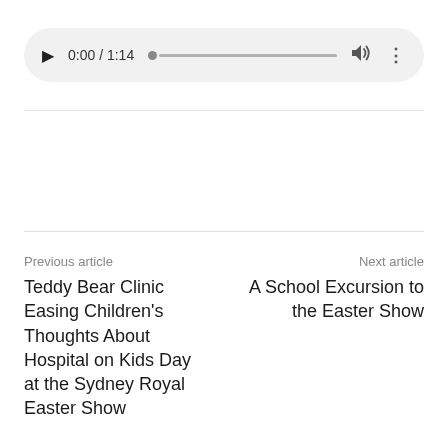[Figure (other): Audio player UI with play button, time display '0:00 / 1:14', progress bar, volume icon, and more options icon, styled as a pill-shaped gray control bar]
Previous article
Teddy Bear Clinic Easing Children's Thoughts About Hospital on Kids Day at the Sydney Royal Easter Show
Next article
A School Excursion to the Easter Show